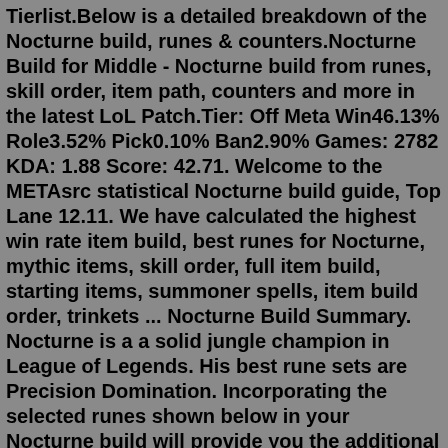Tierlist.Below is a detailed breakdown of the Nocturne build, runes & counters.Nocturne Build for Middle - Nocturne build from runes, skill order, item path, counters and more in the latest LoL Patch.Tier: Off Meta Win46.13% Role3.52% Pick0.10% Ban2.90% Games: 2782 KDA: 1.88 Score: 42.71. Welcome to the METAsrc statistical Nocturne build guide, Top Lane 12.11. We have calculated the highest win rate item build, best runes for Nocturne, mythic items, skill order, full item build, starting items, summoner spells, item build order, trinkets ... Nocturne Build Summary. Nocturne is a a solid jungle champion in League of Legends. His best rune sets are Precision Domination. Incorporating the selected runes shown below in your Nocturne build will provide you the additional bonuses to guarantee he plays well through the laning phase of the round and into the late game. Lethal Tempo is the primary rune for Nocturne since it provides great attack speed and works with every build, this provides the highest dps